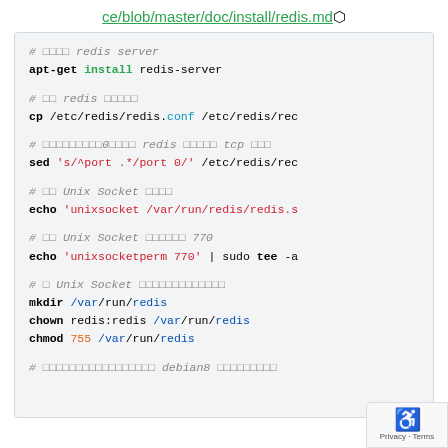ce/blob/master/doc/install/redis.md
[Figure (screenshot): Code block showing shell commands for installing and configuring Redis server with Unix Socket on Debian/Ubuntu]
# 安装 redis server
apt-get install redis-server

# 复制 redis 默认配置文件
cp /etc/redis/redis.conf /etc/redis/rec

# 设置端口为0禁用Redis的tcp监听
sed 's/^port .*/port 0/' /etc/redis/rec

# 启用 Unix Socket 监听支持
echo 'unixsocket /var/run/redis/redis.s

# 设置 Unix Socket 权限为770
echo 'unixsocketperm 770' | sudo tee -a

# 为 Unix Socket 创建目录并设置权限
mkdir /var/run/redis
chown redis:redis /var/run/redis
chmod 755 /var/run/redis

# 在...debian8...
Privacy · Terms